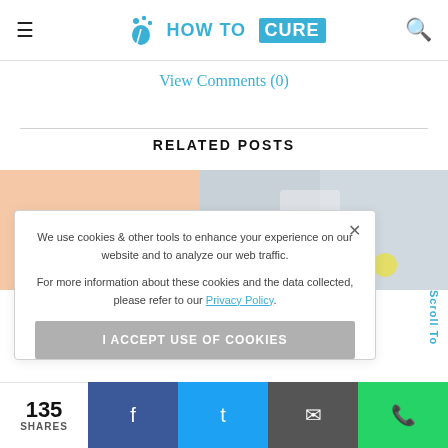HOW TO CURE
View Comments (0)
RELATED POSTS
[Figure (photo): Two related post thumbnail images side by side: left shows a skin/body closeup, right shows a doctor or wellness scene with lemons]
We use cookies & other tools to enhance your experience on our website and to analyze our web traffic.

For more information about these cookies and the data collected, please refer to our Privacy Policy.
I ACCEPT USE OF COOKIES
135
SHARES